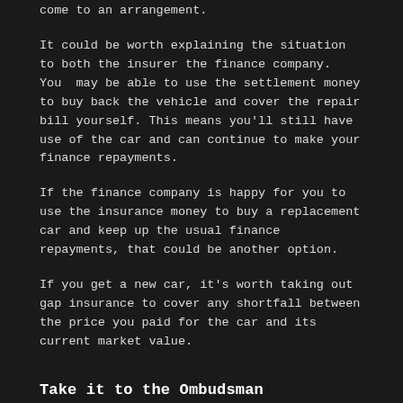come to an arrangement.
It could be worth explaining the situation to both the insurer the finance company. You may be able to use the settlement money to buy back the vehicle and cover the repair bill yourself. This means you'll still have use of the car and can continue to make your finance repayments.
If the finance company is happy for you to use the insurance money to buy a replacement car and keep up the usual finance repayments, that could be another option.
If you get a new car, it's worth taking out gap insurance to cover any shortfall between the price you paid for the car and its current market value.
Take it to the Ombudsman
If the insurer won't budge on the size of the value it will pay, you can take your case to the Financial Ombudsman Service (FOS), which is free and independent.